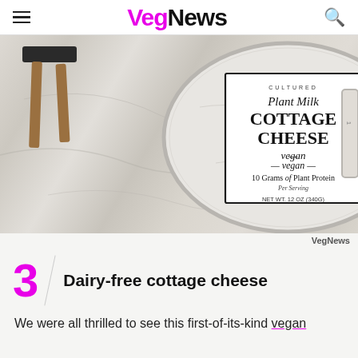VegNews
[Figure (photo): A circular container of Cultured Plant Milk Cottage Cheese - vegan, labeled with 10 Grams of Plant Protein Per Serving, NET WT. 12 OZ (340G), photographed on a marble surface with a wooden stool in the background.]
VegNews
3   Dairy-free cottage cheese
We were all thrilled to see this first-of-its-kind vegan